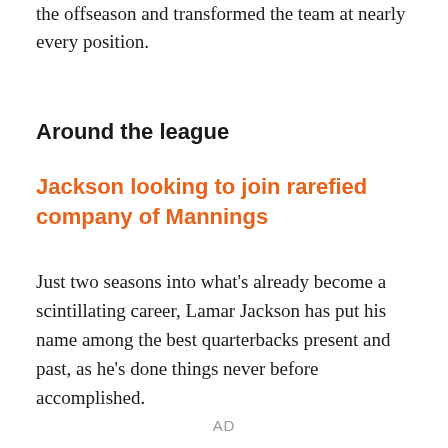the offseason and transformed the team at nearly every position.
Around the league
Jackson looking to join rarefied company of Mannings
Just two seasons into what's already become a scintillating career, Lamar Jackson has put his name among the best quarterbacks present and past, as he's done things never before accomplished.
AD